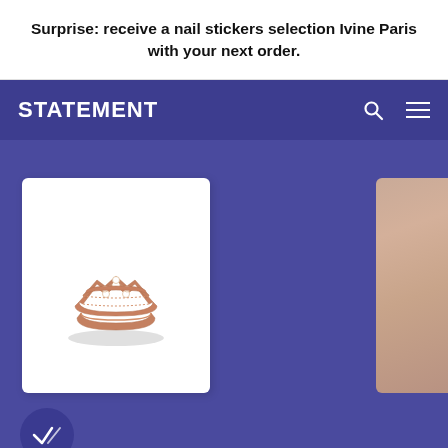Surprise: receive a nail stickers selection Ivine Paris with your next order.
STATEMENT
[Figure (screenshot): E-commerce website screenshot showing the Statement jewelry brand. Navy blue navbar with 'STATEMENT' logo, search and menu icons. Below is a purple background content area with a product card showing a rose gold diamond chevron ring, and a partial second image showing skin/hand texture. A dark blue circular checkmark button is visible at bottom left.]